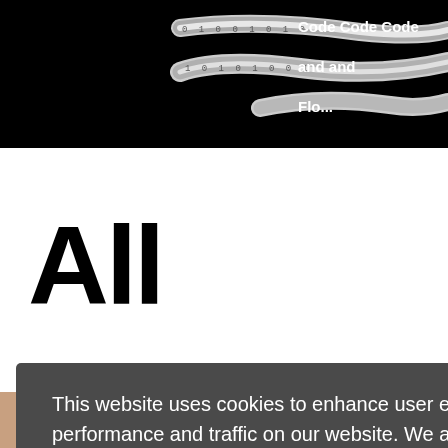[Figure (photo): Top black banner with metallic binary code ribbon/coil and repeating 'Code and' text in white on right side]
All
This website uses cookies to enhance user experience and to analyze performance and traffic on our website. We also share information about your use of our site with our social media, advertising and analytics partners.
Customize Settings
[Figure (photo): Bottom portion showing urban/city photos partially visible]